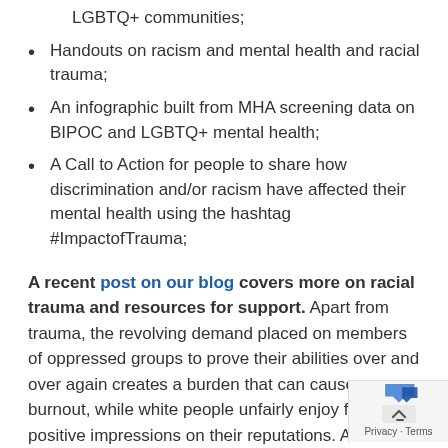LGBTQ+ communities;
Handouts on racism and mental health and racial trauma;
An infographic built from MHA screening data on BIPOC and LGBTQ+ mental health;
A Call to Action for people to share how discrimination and/or racism have affected their mental health using the hashtag #ImpactofTrauma;
A recent post on our blog covers more on racial trauma and resources for support. Apart from trauma, the revolving demand placed on members of oppressed groups to prove their abilities over and over again creates a burden that can cause burnout, while white people unfairly enjoy faster positive impressions on their reputations. Also contributing to professional burnout is racial battle fatigue, a term